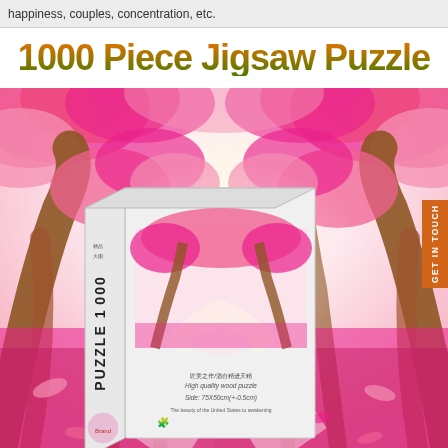happiness, couples, concentration, etc.
1000 Piece Jigsaw Puzzle
[Figure (photo): Product listing page for a 1000 piece jigsaw puzzle. Shows a large background photo of a tunnel of pink blossom trees with petals on the ground leading to a bright light at the end. In the foreground is the puzzle box showing the same scene on its face, with 'PUZZLE 1000' printed on the side spine in bold diagonal text, Chinese text, brand logo, and text reading 'High quality wood puzzle, Side: 75X50cm(+-0.5cm)' and 'The beauty of the United States to awakening'. There is an orange 'GET IN TOUCH' button tab on the right side.]
GET IN TOUCH